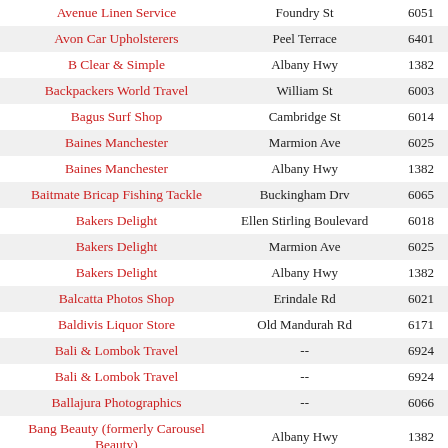| Business Name | Street | Postcode |
| --- | --- | --- |
| Avenue Linen Service | Foundry St | 6051 |
| Avon Car Upholsterers | Peel Terrace | 6401 |
| B Clear & Simple | Albany Hwy | 1382 |
| Backpackers World Travel | William St | 6003 |
| Bagus Surf Shop | Cambridge St | 6014 |
| Baines Manchester | Marmion Ave | 6025 |
| Baines Manchester | Albany Hwy | 1382 |
| Baitmate Bricap Fishing Tackle | Buckingham Drv | 6065 |
| Bakers Delight | Ellen Stirling Boulevard | 6018 |
| Bakers Delight | Marmion Ave | 6025 |
| Bakers Delight | Albany Hwy | 1382 |
| Balcatta Photos Shop | Erindale Rd | 6021 |
| Baldivis Liquor Store | Old Mandurah Rd | 6171 |
| Bali & Lombok Travel | -- | 6924 |
| Bali & Lombok Travel | -- | 6924 |
| Ballajura Photographics | -- | 6066 |
| Bang Beauty (formerly Carousel Beauty) | Albany Hwy | 1382 |